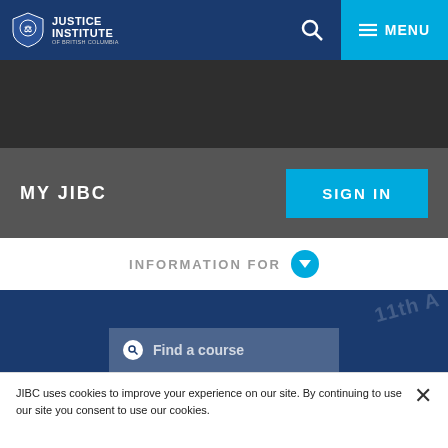JUSTICE INSTITUTE of British Columbia
MY JIBC
SIGN IN
INFORMATION FOR
Find a course
JIBC uses cookies to improve your experience on our site. By continuing to use our site you consent to use our cookies.
LEARN MORE